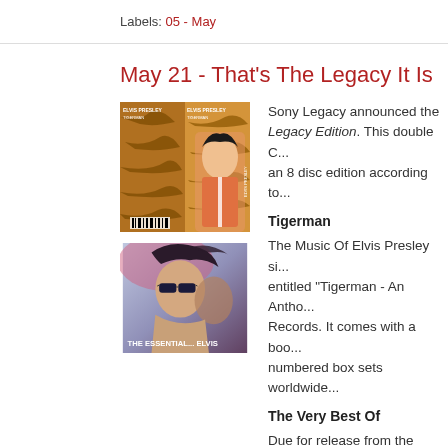Labels: 05 - May
May 21 - That's The Legacy It Is
[Figure (photo): Elvis Presley Tigerman album cover - double image showing tiger-patterned background with young Elvis in orange jacket]
Sony Legacy announced the Legacy Edition. This double C... an 8 disc edition according to...
Tigerman
The Music Of Elvis Presley si... entitled "Tigerman - An Antho... Records. It comes with a boo... numbered box sets worldwide...
[Figure (photo): Elvis Presley The Very Best Of album cover - artistic image of Elvis with wind-blown hair]
The Very Best Of
Due for release from the Mem... the budget compilation "The V... discs.